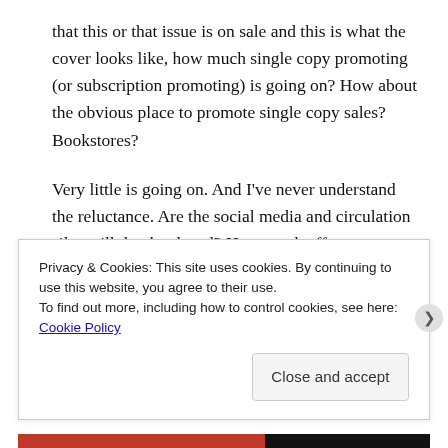that this or that issue is on sale and this is what the cover looks like, how much single copy promoting (or subscription promoting) is going on? How about the obvious place to promote single copy sales? Bookstores?
Very little is going on. And I've never understand the reluctance. Are the social media and circulation silos still that hardened? How much effort or energy or even creativity does this take?
If you're going to drop some serious promotional dollars
Privacy & Cookies: This site uses cookies. By continuing to use this website, you agree to their use.
To find out more, including how to control cookies, see here: Cookie Policy